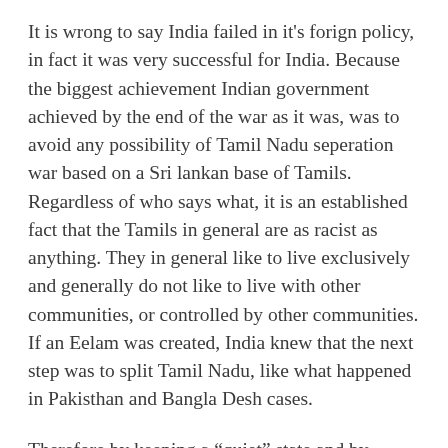It is wrong to say India failed in it's forign policy, in fact it was very successful for India. Because the biggest achievement Indian government achieved by the end of the war as it was, was to avoid any possibility of Tamil Nadu seperation war based on a Sri lankan base of Tamils. Regardless of who says what, it is an established fact that the Tamils in general are as racist as anything. They in general like to live exclusively and generally do not like to live with other communities, or controlled by other communities. If an Eelam was created, India knew that the next step was to split Tamil Nadu, like what happened in Pakisthan and Bangla Desh cases.
Therefore by keeping a “quiet” state and by allowing LTTE to be crushed beyond survival, India was saved. Thanks God! India will even to the future keep tha same stance just to save India.